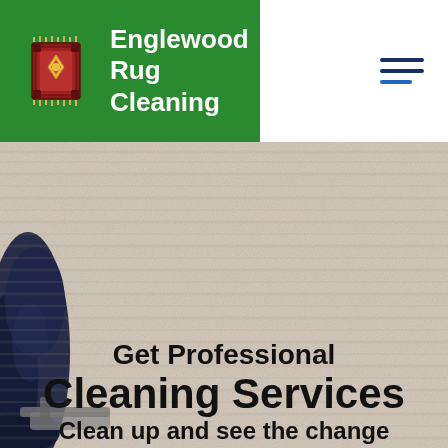[Figure (logo): Englewood Rug Cleaning logo: green circular background with a decorative rug/carpet icon in red and dark colors, white bold text reading 'Englewood Rug Cleaning']
[Figure (other): Hamburger menu icon made of three horizontal dark navy/blue lines]
[Figure (photo): Close-up photo of beige/cream carpet texture with a dark navy sneaker visible on the left side and what appears to be a cleaning tool at the bottom left]
Get Professional Cleaning Services
Clean up and see the change